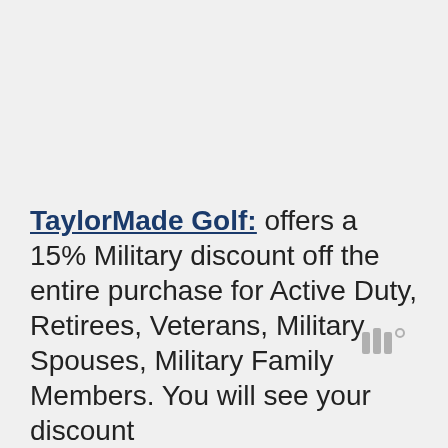[Figure (other): Watermark or logo symbol in gray, resembling stylized vertical bars with a degree symbol]
TaylorMade Golf: offers a 15% Military discount off the entire purchase for Active Duty, Retirees, Veterans, Military Spouses, Military Family Members. You will see your discount